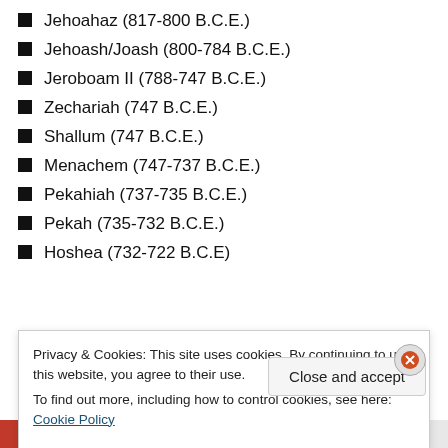Jehoahaz (817-800 B.C.E.)
Jehoash/Joash (800-784 B.C.E.)
Jeroboam II (788-747 B.C.E.)
Zechariah (747 B.C.E.)
Shallum (747 B.C.E.)
Menachem (747-737 B.C.E.)
Pekahiah (737-735 B.C.E.)
Pekah (735-732 B.C.E.)
Hoshea (732-722 B.C.E)
(Dates from page 2111 of The Jewish Study Bible (Oxford
Privacy & Cookies: This site uses cookies. By continuing to use this website, you agree to their use. To find out more, including how to control cookies, see here: Cookie Policy
Close and accept